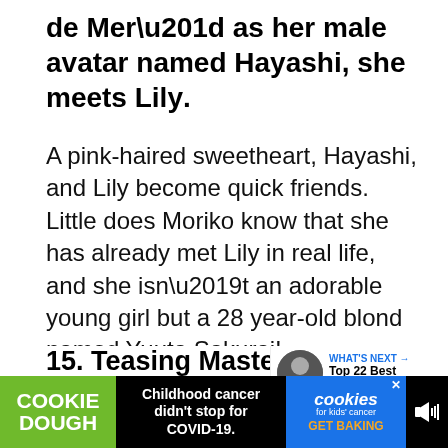de Mer” as her male avatar named Hayashi, she meets Lily.
A pink-haired sweetheart, Hayashi, and Lily become quick friends. Little does Moriko know that she has already met Lily in real life, and she isn’t an adorable young girl but a 28 year-old blond named Yuuta Sakurai!
15. Teasing Master Takagi-s…
[Figure (photo): Partial image of an outdoor scene with blue sky, partially cut off]
[Figure (infographic): Cookie Dough / Cookies for Kids Cancer advertisement banner. Text: COOKIE DOUGH, Childhood cancer didn’t stop for COVID-19., cookies for kids’ cancer, GET BAKING]